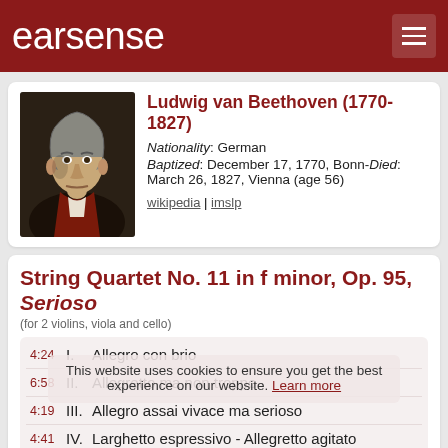earsense
Ludwig van Beethoven (1770-1827)
Nationality: German
Baptized: December 17, 1770, Bonn-Died: March 26, 1827, Vienna (age 56)
wikipedia | imslp
String Quartet No. 11 in f minor, Op. 95, Serioso
(for 2 violins, viola and cello)
4:24   I.   Allegro con brio
6:58   II.  Allegretto ma non troppo
4:19   III. Allegro assai vivace ma serioso
4:41   IV.  Larghetto espressivo - Allegretto agitato
This website uses cookies to ensure you get the best experience on our website. Learn more
Duration: 22 minutes (approximately)